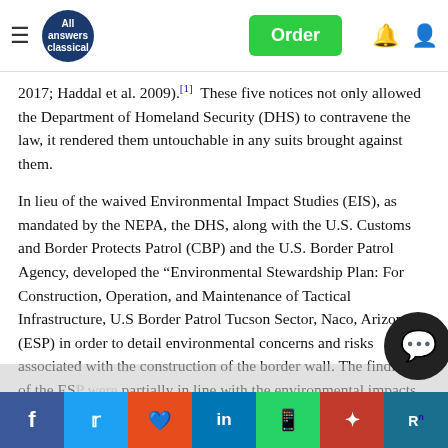All Answers Classical — navigation bar with Order button
2017; Haddal et al. 2009).[1]  These five notices not only allowed the Department of Homeland Security (DHS) to contravene the law, it rendered them untouchable in any suits brought against them.
In lieu of the waived Environmental Impact Studies (EIS), as mandated by the NEPA, the DHS, along with the U.S. Customs and Border Protects Patrol (CBP) and the U.S. Border Patrol Agency, developed the “Environmental Stewardship Plan: For Construction, Operation, and Maintenance of Tactical Infrastructure, U.S Border Patrol Tucson Sector, Naco, Arizona” (ESP) in order to detail environmental concerns and risks associated with the construction of the border wall. The findings of the ES... partially in line with the environmental impacts, as note... above; esp... the border wall will ha... within the
Social share bar: Facebook, Twitter, Reddit, LinkedIn, WhatsApp, Mendeley, ResearchGate